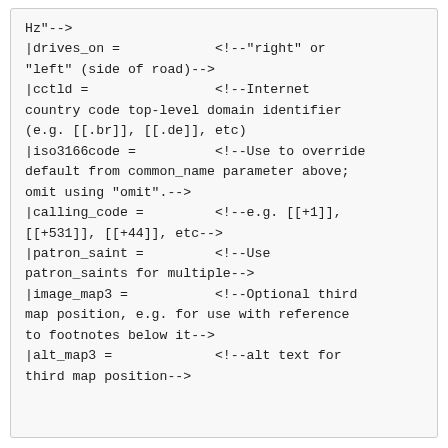Hz"-->
|drives_on =            <!--"right" or "left" (side of road)-->
|cctld =                <!--Internet country code top-level domain identifier (e.g. [[.br]], [[.de]], etc)
|iso3166code =          <!--Use to override default from common_name parameter above; omit using "omit".-->
|calling_code =         <!--e.g. [[+1]], [[+531]], [[+44]], etc-->
|patron_saint =         <!--Use patron_saints for multiple-->
|image_map3 =           <!--Optional third map position, e.g. for use with reference to footnotes below it-->
|alt_map3 =             <!--alt text for third map position-->